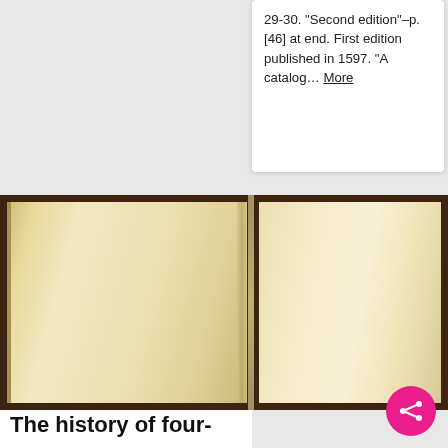29-30. "Second edition"–p. [46] at end. First edition published in 1597. "A catalog... More
[Figure (photo): Two open pages of an old book with cream/yellowed blank pages and dark brown covers. Left page shows the spine edge with page layering visible. Right page is a blank cream page.]
The history of four-